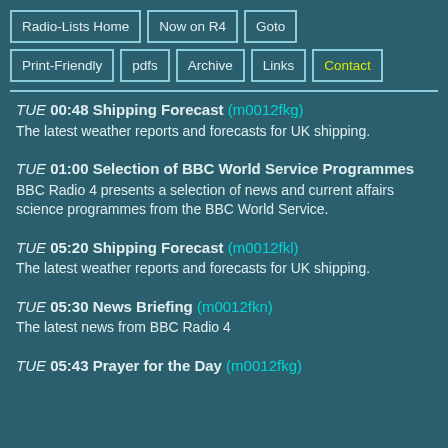Radio-Lists Home | Now on R4 | Goto | Print-Friendly | pdfs | Archive | Links | Contact
TUE 00:48 Shipping Forecast (m0012fkg) - The latest weather reports and forecasts for UK shipping.
TUE 01:00 Selection of BBC World Service Programmes - BBC Radio 4 presents a selection of news and current affairs science programmes from the BBC World Service.
TUE 05:20 Shipping Forecast (m0012fkl) - The latest weather reports and forecasts for UK shipping.
TUE 05:30 News Briefing (m0012fkn) - The latest news from BBC Radio 4
TUE 05:43 Prayer for the Day (m0012fkg)